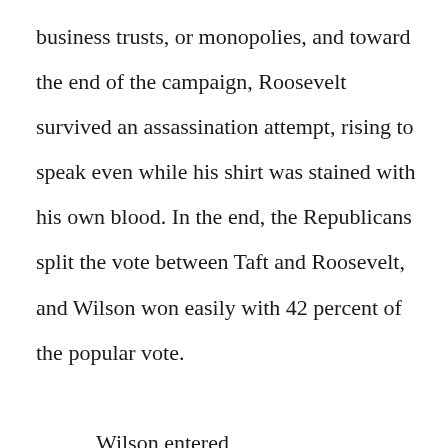business trusts, or monopolies, and toward the end of the campaign, Roosevelt survived an assassination attempt, rising to speak even while his shirt was stained with his own blood. In the end, the Republicans split the vote between Taft and Roosevelt, and Wilson won easily with 42 percent of the popular vote.

	Wilson entered office on March 4, 1913, with a lengthy reform agenda and a Democratic